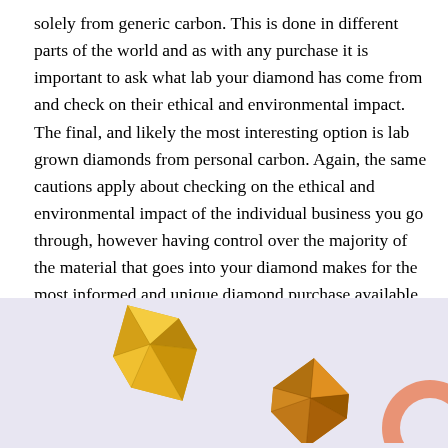solely from generic carbon. This is done in different parts of the world and as with any purchase it is important to ask what lab your diamond has come from and check on their ethical and environmental impact. The final, and likely the most interesting option is lab grown diamonds from personal carbon. Again, the same cautions apply about checking on the ethical and environmental impact of the individual business you go through, however having control over the majority of the material that goes into your diamond makes for the most informed and unique diamond purchase available.
[Figure (photo): Photo of multiple yellow/golden faceted gemstone diamonds on a light purple/grey background, with a partial peach/orange circle logo overlay in the bottom right corner.]